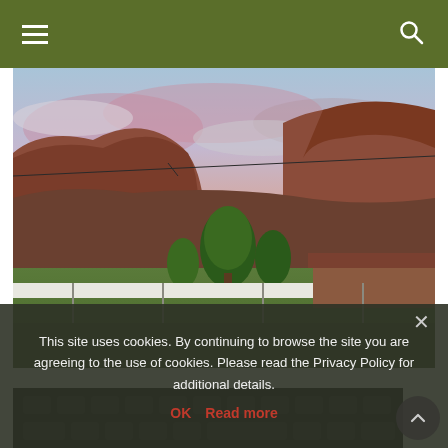Navigation menu and search icon on olive/dark-green header bar
[Figure (photo): Outdoor landscape photo at sunset/dusk: red rock canyon cliffs in background with pink and blue cloudy sky; green trees and grass in middle ground; white fence; residential structure on right; power lines crossing the sky.]
This site uses cookies. By continuing to browse the site you are agreeing to the use of cookies. Please read the Privacy Policy for additional details.
OK   Read more
[Figure (photo): Partial view of a dark keyboard/calculator in the lower portion of the page.]